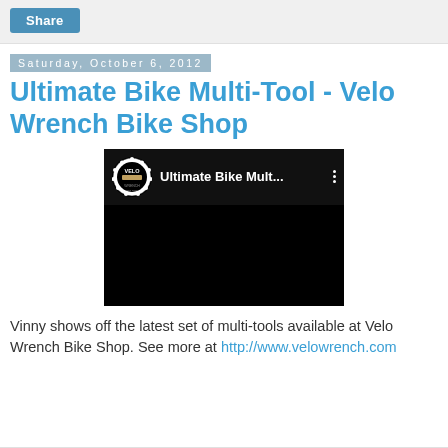Share
Saturday, October 6, 2012
Ultimate Bike Multi-Tool - Velo Wrench Bike Shop
[Figure (screenshot): YouTube video embed showing Velo Wrench Bike Shop channel with title 'Ultimate Bike Mult...' on black background]
Vinny shows off the latest set of multi-tools available at Velo Wrench Bike Shop. See more at http://www.velowrench.com